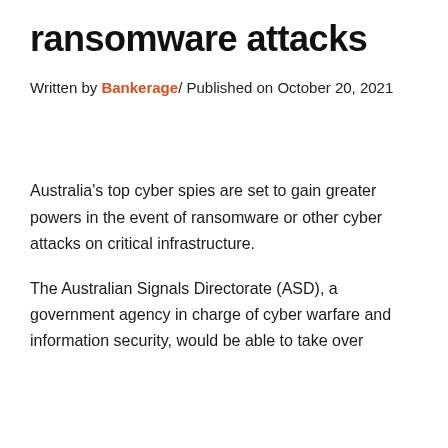ransomware attacks
Written by Bankerage/ Published on October 20, 2021
Australia's top cyber spies are set to gain greater powers in the event of ransomware or other cyber attacks on critical infrastructure.
The Australian Signals Directorate (ASD), a government agency in charge of cyber warfare and information security, would be able to take over